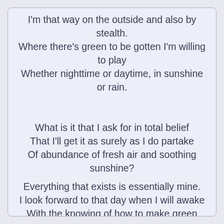I'm that way on the outside and also by stealth.
Where there's green to be gotten I'm willing to play
Whether nighttime or daytime, in sunshine or rain.

What is it that I ask for in total belief
That I'll get it as surely as I do partake
Of abundance of fresh air and soothing sunshine?
Everything that exists is essentially mine.
I look forward to that day when I will awake
With the knowing of how to make green every leaf.

Am I ready for that? That is all up to me